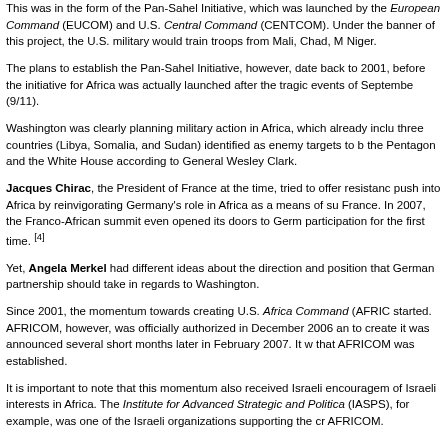This was in the form of the Pan-Sahel Initiative, which was launched by the European Command (EUCOM) and U.S. Central Command (CENTCOM). Under the banner of this project, the U.S. military would train troops from Mali, Chad, Mauritania, and Niger.
The plans to establish the Pan-Sahel Initiative, however, date back to 2001, before the initiative for Africa was actually launched after the tragic events of September 11, 2001 (9/11).
Washington was clearly planning military action in Africa, which already included three countries (Libya, Somalia, and Sudan) identified as enemy targets to be attacked by the Pentagon and the White House according to General Wesley Clark.
Jacques Chirac, the President of France at the time, tried to offer resistance to the U.S. push into Africa by reinvigorating Germany's role in Africa as a means of supplementing France. In 2007, the Franco-African summit even opened its doors to German participation for the first time. [4]
Yet, Angela Merkel had different ideas about the direction and position that the German partnership should take in regards to Washington.
Since 2001, the momentum towards creating U.S. Africa Command (AFRICOM) had started. AFRICOM, however, was officially authorized in December 2006 and the decision to create it was announced several short months later in February 2007. It was in 2008 that AFRICOM was established.
It is important to note that this momentum also received Israeli encouragement in defense of Israeli interests in Africa. The Institute for Advanced Strategic and Political Studies (IASPS), for example, was one of the Israeli organizations supporting the creation of AFRICOM.